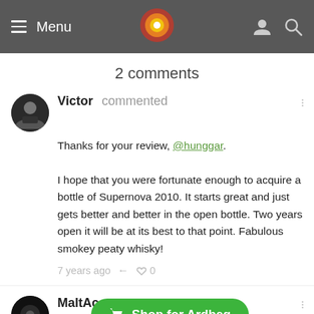Menu
2 comments
Victor commented
Thanks for your review, @hunggar.

I hope that you were fortunate enough to acquire a bottle of Supernova 2010. It starts great and just gets better and better in the open bottle. Two years open it will be at its best to that point. Fabulous smokey peaty whisky!
7 years ago ← ♡ 0
MaltAc... @victor @hunggar I am glad I have a couple
Shop for Ardbeg